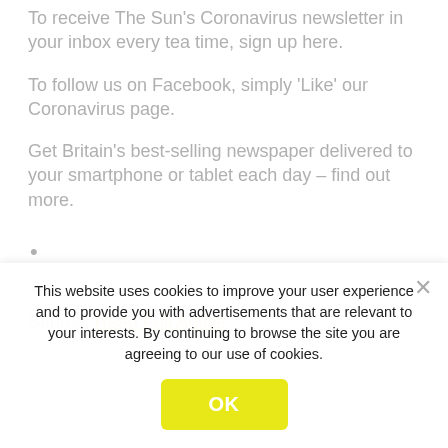To receive The Sun's Coronavirus newsletter in your inbox every tea time, sign up here.
To follow us on Facebook, simply 'Like' our Coronavirus page.
Get Britain's best-selling newspaper delivered to your smartphone or tablet each day – find out more.
Source: Read Full Article
This website uses cookies to improve your user experience and to provide you with advertisements that are relevant to your interests. By continuing to browse the site you are agreeing to our use of cookies.